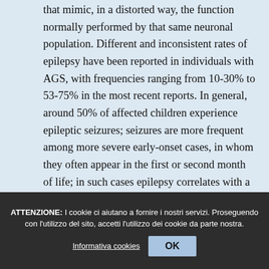that mimic, in a distorted way, the function normally performed by that same neuronal population. Different and inconsistent rates of epilepsy have been reported in individuals with AGS, with frequencies ranging from 10-30% to 53-75% in the most recent reports. In general, around 50% of affected children experience epileptic seizures; seizures are more frequent among more severe early-onset cases, in whom they often appear in the first or second month of life; in such cases epilepsy correlates with a worse prognosis and can be particularly severe, manifesting itself from the outset as status epilepticus or with seizures that tend to be poorly controlled by
ATTENZIONE: I cookie ci aiutano a fornire i nostri servizi. Proseguendo con l'utilizzo del sito, accetti l'utilizzo dei cookie da parte nostra. Informativa cookies OK